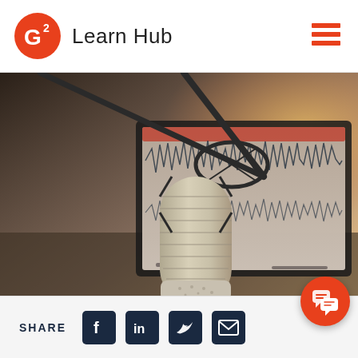Learn Hub
[Figure (photo): A studio microphone on a boom arm in the foreground, with a laptop screen showing audio waveforms in the background. Warm reddish bokeh lighting.]
SHARE
[Figure (infographic): Social share icons: Facebook, LinkedIn, Twitter, Email, and a chat bubble button in orange/red.]